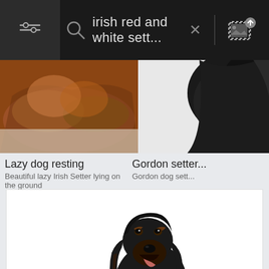[Figure (screenshot): Search bar UI with filter icon on left, search query 'irish red and white sett...', close X button, divider, and image upload icon on right]
[Figure (photo): Thumbnail photo of a lazy Irish Red Setter dog lying on the ground]
[Figure (photo): Thumbnail photo of a Gordon Setter dog]
Lazy dog resting
Beautiful lazy Irish Setter lying on the ground
Gordon setter...
Gordon dog sett...
[Figure (photo): Large photo of a black Gordon Setter dog sitting upright on a white background, looking upward with mouth slightly open]